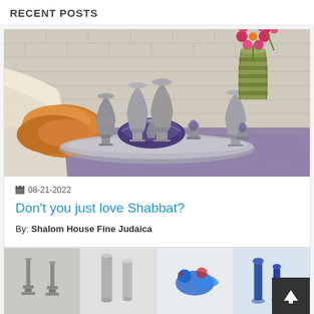RECENT POSTS
[Figure (photo): Shabbat table setting with silver Kiddush cups on a tray, challah bread, kippah, and pink flowers in a striped vase against a brick wall background]
08-21-2022
Don't you just love Shabbat?
By: Shalom House Fine Judaica
[Figure (photo): Four thumbnail images of Judaica items: candlesticks, silver cups, decorative bird, blue items]